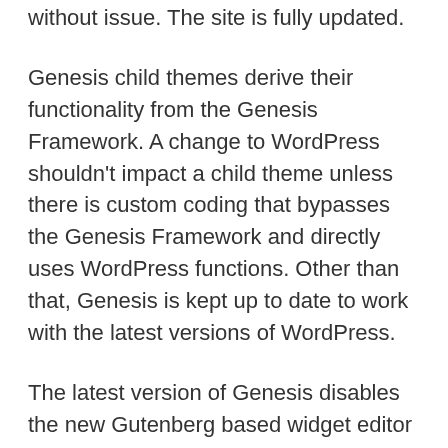without issue. The site is fully updated.
Genesis child themes derive their functionality from the Genesis Framework. A change to WordPress shouldn't impact a child theme unless there is custom coding that bypasses the Genesis Framework and directly uses WordPress functions. Other than that, Genesis is kept up to date to work with the latest versions of WordPress.
The latest version of Genesis disables the new Gutenberg based widget editor because some of its widgets are incompatible with the new editor. You